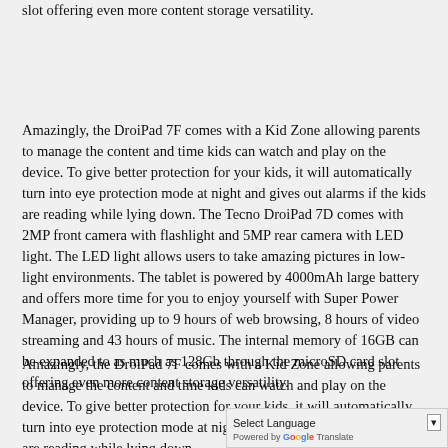slot offering even more content storage versatility.
Amazingly, the DroiPad 7F comes with a Kid Zone allowing parents to manage the content and time kids can watch and play on the device. To give better protection for your kids, it will automatically turn into eye protection mode at night and gives out alarms if the kids are reading while lying down. The Tecno DroiPad 7D comes with 2MP front camera with flashlight and 5MP rear camera with LED light. The LED light allows users to take amazing pictures in low-light environments. The tablet is powered by 4000mAh large battery and offers more time for you to enjoy yourself with Super Power Manager, providing up to 9 hours of web browsing, 8 hours of video streaming and 43 hours of music. The internal memory of 16GB can be expanded to as much as 128Gb through the microSD card slot offering even more content storage versatility.
Amazingly, the DroiPad 7F comes with a Kid Zone allowing parents to manage the content and time kids can watch and play on the device. To give better protection for your kids, it will automatically turn into eye protection mode at night and gives out alarms if the kids are reading while lying down.